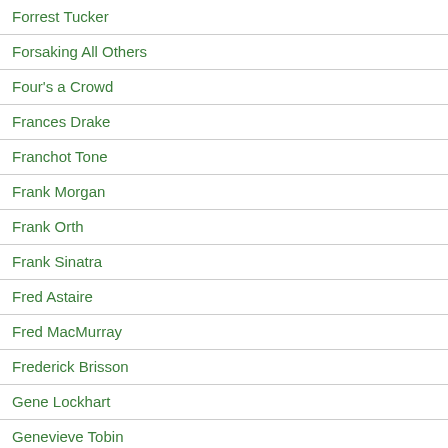Forrest Tucker
Forsaking All Others
Four's a Crowd
Frances Drake
Franchot Tone
Frank Morgan
Frank Orth
Frank Sinatra
Fred Astaire
Fred MacMurray
Frederick Brisson
Gene Lockhart
Genevieve Tobin